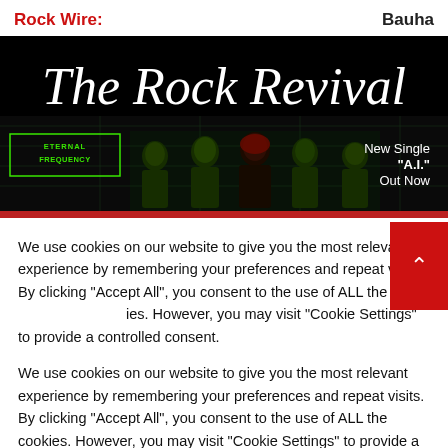Rock Wire: ... Bauha
[Figure (photo): The Rock Revival banner with dark background showing band name in white italic script font, Eternal Frequency logo in green, band members silhouettes lit in green lighting, and 'New Single "A.I." Out Now' text on the right]
We use cookies on our website to give you the most relevant experience by remembering your preferences and repeat visits. By clicking "Accept All", you consent to the use of ALL the cookies. However, you may visit "Cookie Settings" to provide a controlled consent.
Cookie Settings   Accept All